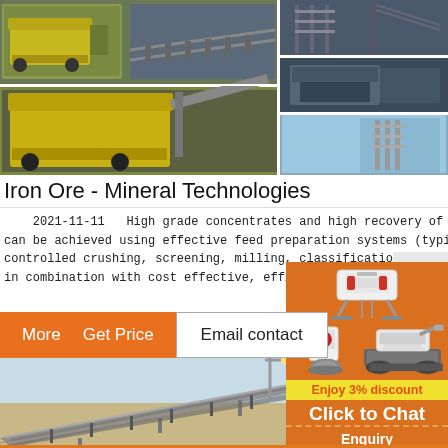[Figure (photo): Collage of mining and mineral processing equipment — green/yellow heavy machinery, conveyor systems, industrial plant structures]
Iron Ore - Mineral Technologies
2021-11-11   High grade concentrates and high recovery of iron ore can be achieved using effective feed preparation systems (typically controlled crushing, screening, milling, classification and in combination with cost effective, efficient
[Figure (other): Orange button row with More, Get Price, and Email contact buttons]
[Figure (photo): Conveyor belt structure angled upward over sandy terrain]
[Figure (infographic): Right sidebar orange panel with mining machine images, Enjoy 3% discount banner, Click to Chat button, and Enquiry label]